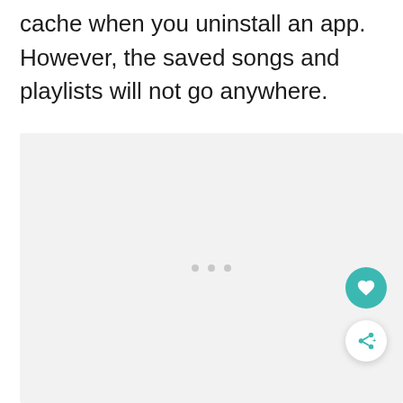cache when you uninstall an app. However, the saved songs and playlists will not go anywhere.
[Figure (screenshot): A large light gray placeholder area representing a screenshot of a mobile app, with three small dots in the center indicating a loading or pagination indicator. Two floating action buttons are visible in the bottom-right corner: a teal circle with a heart icon and a white circle with a share icon.]